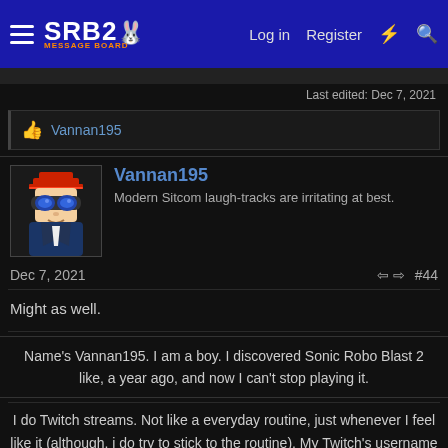SRB2 Message Board — Log in  Register
Last edited: Dec 7, 2021
👍 Vannan195
Vannan195
Modern Sitcom laugh-tracks are irritating at best.
Dec 7, 2021   #44
Might as well.
Name's Vannan195. I am a boy. I discovered Sonic Robo Blast 2 like, a year ago, and now I can't stop playing it.
I do Twitch streams. Not like a everyday routine, just whenever I feel like it (although, i do try to stick to the routine). My Twitch's username is the same as my SRB2 Profile name.
My favorite type of video game genre is Racing. More specifically, my favorite game is Need for Speed: Underground